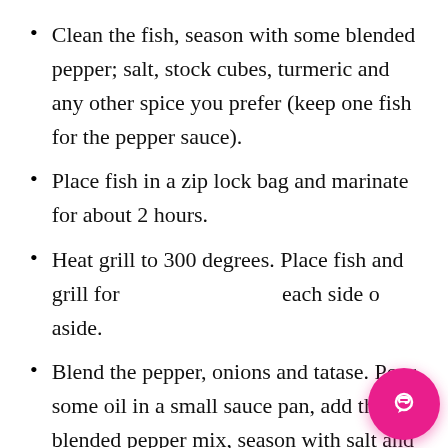Clean the fish, season with some blended pepper; salt, stock cubes, turmeric and any other spice you prefer (keep one fish for the pepper sauce).
Place fish in a zip lock bag and marinate for about 2 hours.
Heat grill to 300 degrees. Place fish and grill for about 10 minutes each side or set aside.
Blend the pepper, onions and tatase. Pour some oil in a small sauce pan, add the blended pepper mix, season with salt and stock cubes.
[Figure (screenshot): Chat widget popup with avatar icon, close button (×), and text 'Got any questions? I'm happy to help.' in blue, plus a pink circular chat FAB button in the bottom right corner.]